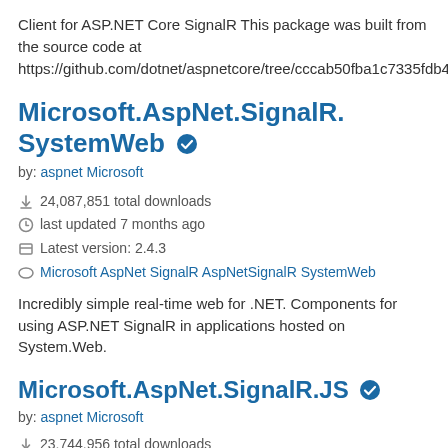Client for ASP.NET Core SignalR This package was built from the source code at https://github.com/dotnet/aspnetcore/tree/cccab50fba1c7335fdb48a735246374b5ddd7e69
Microsoft.AspNet.SignalR.SystemWeb
by: aspnet Microsoft
24,087,851 total downloads
last updated 7 months ago
Latest version: 2.4.3
Microsoft AspNet SignalR AspNetSignalR SystemWeb
Incredibly simple real-time web for .NET. Components for using ASP.NET SignalR in applications hosted on System.Web.
Microsoft.AspNet.SignalR.JS
by: aspnet Microsoft
23,744,956 total downloads